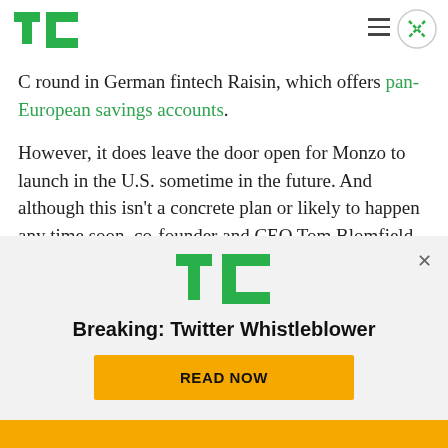TechCrunch logo, hamburger menu, close button
C round in German fintech Raisin, which offers pan-European savings accounts.
However, it does leave the door open for Monzo to launch in the U.S. sometime in the future. And although this isn't a concrete plan or likely to happen any time soon, co-founder and CEO Tom Blomfield has made no secret of his ambition to
[Figure (screenshot): TechCrunch promotional overlay with TC logo, headline 'Breaking: Twitter Whistleblower', and a gold 'READ NOW' button]